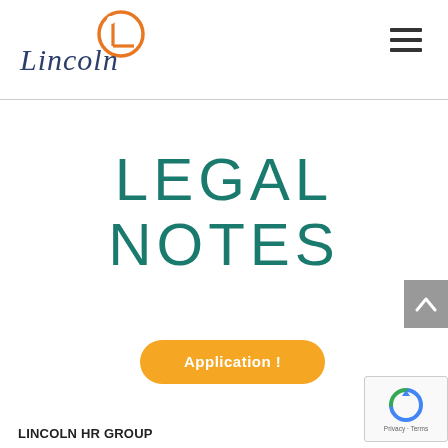[Figure (logo): Lincoln logo with orange circular icon and dark navy 'Lincoln' text]
LEGAL NOTES
Application !
LINCOLN HR GROUP